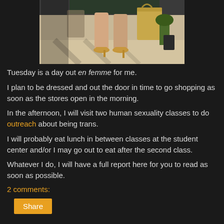[Figure (photo): Photo showing the legs and feet of a person wearing high heels and carrying shopping bags, outdoors on a sunny day]
Tuesday is a day out en femme for me.
I plan to be dressed and out the door in time to go shopping as soon as the stores open in the morning.
In the afternoon, I will visit two human sexuality classes to do outreach about being trans.
I will probably eat lunch in between classes at the student center and/or I may go out to eat after the second class.
Whatever I do, I will have a full report here for you to read as soon as possible.
2 comments:
Share